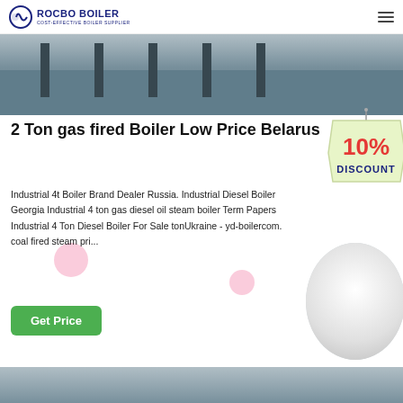ROCBO BOILER — COST-EFFECTIVE BOILER SUPPLIER
[Figure (photo): Industrial boiler facility interior showing machinery and equipment]
2 Ton gas fired Boiler Low Price Belarus
[Figure (infographic): 10% Discount promotional badge/tag]
Industrial 4t Boiler Brand Dealer Russia. Industrial Diesel Boiler Georgia Industrial 4 ton gas diesel oil steam boiler Term Papers Industrial 4 Ton Diesel Boiler For Sale tonUkraine - yd-boilercom. coal fired steam pri...
[Figure (photo): Customer service representative wearing headset]
[Figure (photo): Bottom industrial boiler equipment photo]